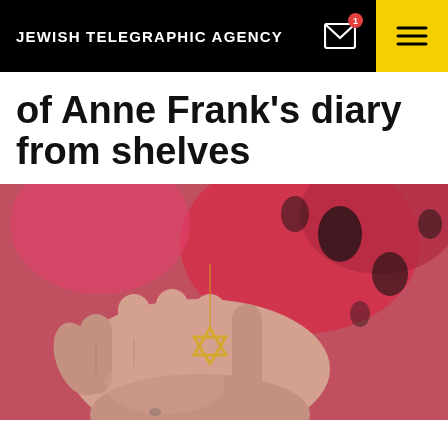JEWISH TELEGRAPHIC AGENCY
of Anne Frank's diary from shelves
[Figure (photo): A hand holding a Star of David pendant on a chain, with a pink and black patterned fabric background.]